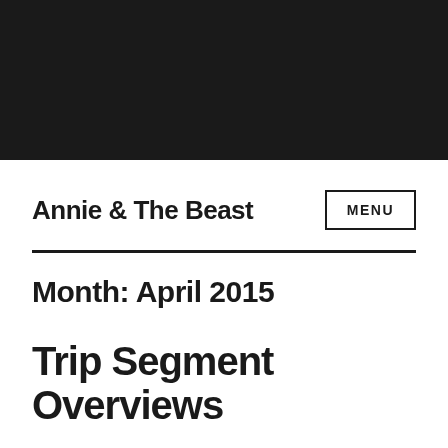[Figure (photo): Black header image area at the top of the page]
Annie & The Beast
MENU
Month: April 2015
Trip Segment Overviews